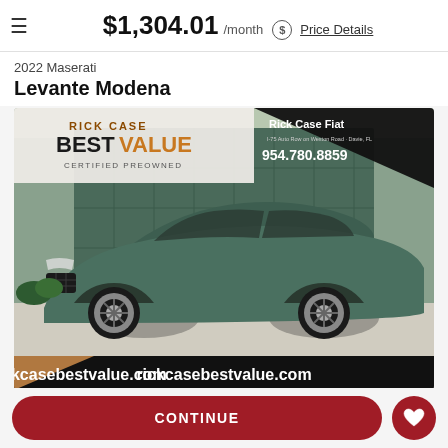$1,304.01 /month  Price Details
2022 Maserati Levante Modena
[Figure (photo): 2022 Maserati Levante Modena SUV in dark green, photographed at Rick Case Fiat dealership. Overlay text includes 'Rick Case Best Value Certified Preowned', 'Rick Case Fiat 954.780.8859', and 'rickcasebestvalue.com']
CONTINUE